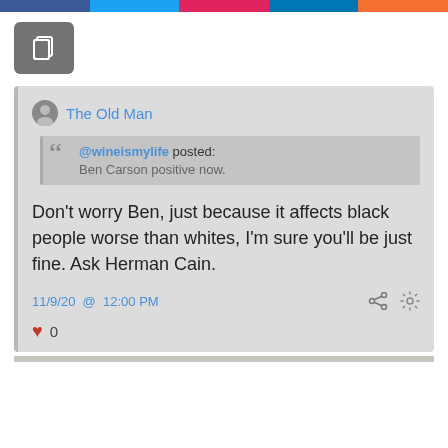[Figure (screenshot): Social media share buttons bar at top (Facebook blue, Twitter light blue, Pinterest red, LinkedIn teal, RSS orange)]
[Figure (screenshot): Gray copy/share icon button]
The Old Man
@wineismylife posted: Ben Carson positive now.
Don't worry Ben, just because it affects black people worse than whites, I'm sure you'll be just fine. Ask Herman Cain.
11/9/20 @ 12:00 PM
0